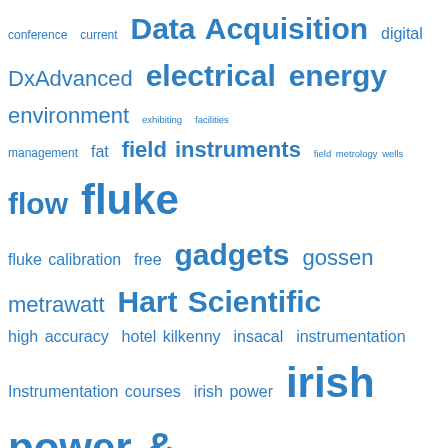[Figure (infographic): Tag cloud with engineering/instrumentation keywords in various font sizes in blue. Terms include: conference, current, Data Acquisition, digital, DxAdvanced, electrical, energy, environment, exhibiting, facilities, management, fat, field instruments, field metrology wells, flow, fluke, fluke calibration, free, gadgets, gossen metrawatt, Hart Scientific, high accuracy, hotel kilkenny, insacal, instrumentation, Instrumentation courses, irish power, irish power & process, irishpowerandprocess, irish power and process, ISA100, ISPE, measure, measurement, measurements, modbus, multimeter, ndc, paperless chart recorders, power, pressure, process, process instrumentation, promotion, research, resistance, sales engineer, sanitary processes, science, seminar, seminars, sineax, technology, temperature, temperature calibrator, Test &]